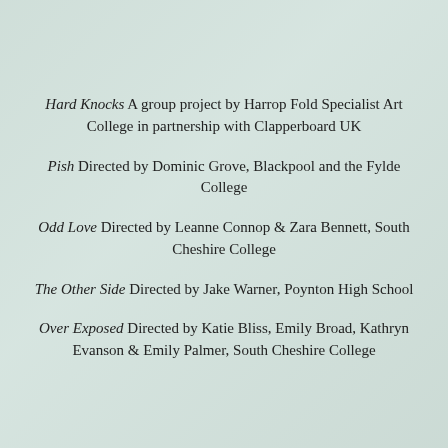Hard Knocks A group project by Harrop Fold Specialist Art College in partnership with Clapperboard UK
Pish Directed by Dominic Grove, Blackpool and the Fylde College
Odd Love Directed by Leanne Connop & Zara Bennett, South Cheshire College
The Other Side Directed by Jake Warner, Poynton High School
Over Exposed Directed by Katie Bliss, Emily Broad, Kathryn Evanson & Emily Palmer, South Cheshire College